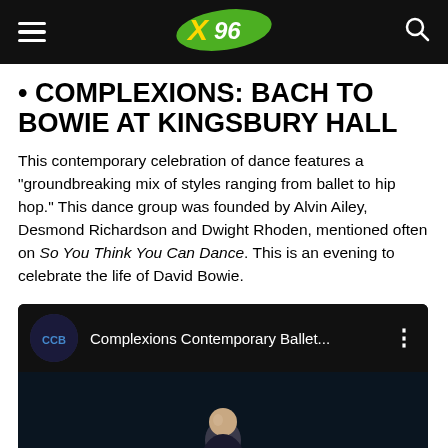X96 navigation bar
• COMPLEXIONS: BACH TO BOWIE AT KINGSBURY HALL
This contemporary celebration of dance features a "groundbreaking mix of styles ranging from ballet to hip hop." This dance group was founded by Alvin Ailey, Desmond Richardson and Dwight Rhoden, mentioned often on So You Think You Can Dance. This is an evening to celebrate the life of David Bowie.
[Figure (screenshot): YouTube video embed showing 'Complexions Contemporary Ballet...' with a thumbnail of a performer on a dark stage background]